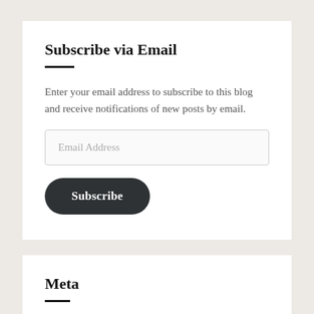Subscribe via Email
Enter your email address to subscribe to this blog and receive notifications of new posts by email.
[Figure (other): Email Address input field (text input box)]
[Figure (other): Subscribe button (dark rounded button)]
Meta